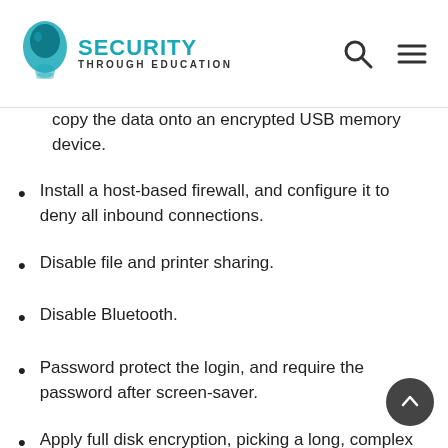Security Through Education
copy the data onto an encrypted USB memory device.
Install a host-based firewall, and configure it to deny all inbound connections.
Disable file and printer sharing.
Disable Bluetooth.
Password protect the login, and require the password after screen-saver.
Apply full disk encryption, picking a long, complex password. This will provide a substantial layer of protection should the workstation or medium become lost or stolen. The user should memorize the